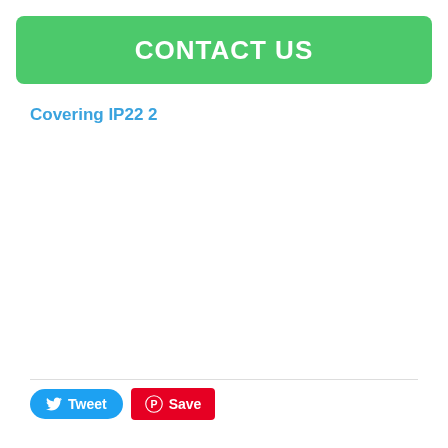CONTACT US
Covering IP22 2
Tweet  Save